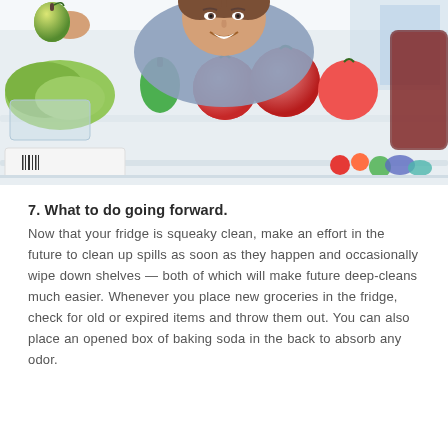[Figure (photo): A smiling man looking through an open refrigerator stocked with fresh produce including tomatoes, green pepper, lettuce, and other vegetables. A hand in the upper left is holding a green apple. The view is from inside the fridge looking out.]
7. What to do going forward.
Now that your fridge is squeaky clean, make an effort in the future to clean up spills as soon as they happen and occasionally wipe down shelves — both of which will make future deep-cleans much easier. Whenever you place new groceries in the fridge, check for old or expired items and throw them out. You can also place an opened box of baking soda in the back to absorb any odor.